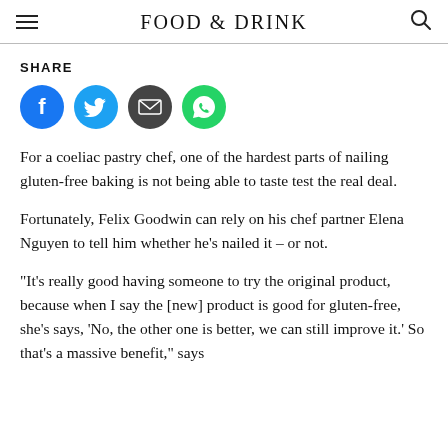FOOD & DRINK
SHARE
[Figure (infographic): Four social share buttons: Facebook (blue circle with f), Twitter (cyan circle with bird), Email (dark circle with envelope), WhatsApp (green circle with phone)]
For a coeliac pastry chef, one of the hardest parts of nailing gluten-free baking is not being able to taste test the real deal.
Fortunately, Felix Goodwin can rely on his chef partner Elena Nguyen to tell him whether he’s nailed it – or not.
“It’s really good having someone to try the original product, because when I say the [new] product is good for gluten-free, she’s says, ‘No, the other one is better, we can still improve it.’ So that’s a massive benefit,” says